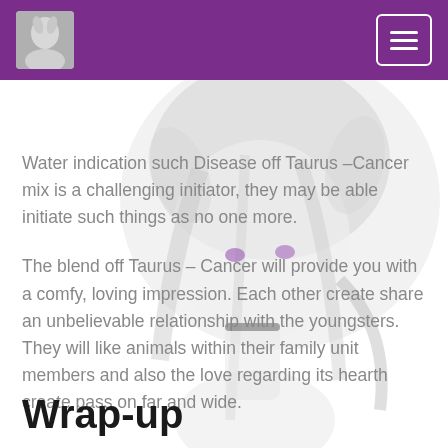[Figure (illustration): Anime-style character with white/silver hair and animal ears, semi-transparent overlay on white background]
Water indication such Disease off Taurus –Cancer mix is a challenging initiator, they may be able initiate such things as no one more.
The blend off Taurus – Cancer will provide you with a comfy, loving impression. Each other create share an unbelievable relationship with the youngsters. They will like animals within their family unit members and also the love regarding its hearth create pass on far and wide.
Wrap-up